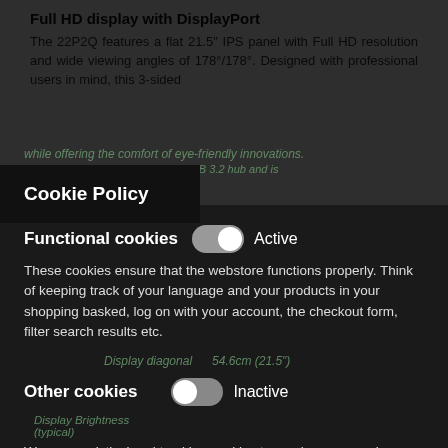Full HD display with DisplayPort
The 22P2Q features a flat 21.5" IPS panel with Full HD resolution and wide viewing angles of 178°/178°. Designed with professional users in mind, this 3-sided frameless display can be height-adjusted, tilted, and adjusted to the ideal ergonomic position, while offering the comfort of eye-friendly innovations. Highly connectable, it features a USB 3.2 hub and is...
Cookie Policy
Functional cookies
Active
These cookies ensure that the webstore functions properly. Think of keeping track of your language and your products in your shopping basked, log on with your account, the checkout form, filter search results etc.
Display diagonal   54.6cm (21.5")
Other cookies
Inactive
We use analytical and tracking cookies to see how we can improve the webstore and how we can adapt content and potential advertisements to your preference.
Native aspect ratio   16:9
Response time   Full HD
Save Settings